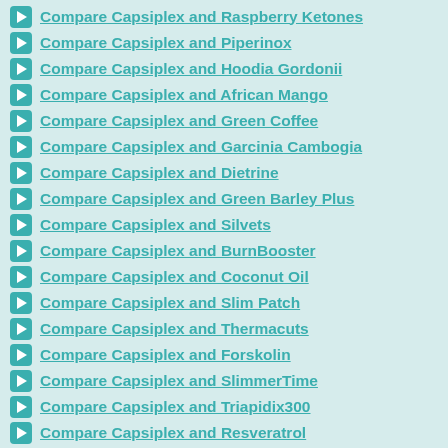Compare Capsiplex and Raspberry Ketones
Compare Capsiplex and Piperinox
Compare Capsiplex and Hoodia Gordonii
Compare Capsiplex and African Mango
Compare Capsiplex and Green Coffee
Compare Capsiplex and Garcinia Cambogia
Compare Capsiplex and Dietrine
Compare Capsiplex and Green Barley Plus
Compare Capsiplex and Silvets
Compare Capsiplex and BurnBooster
Compare Capsiplex and Coconut Oil
Compare Capsiplex and Slim Patch
Compare Capsiplex and Thermacuts
Compare Capsiplex and Forskolin
Compare Capsiplex and SlimmerTime
Compare Capsiplex and Triapidix300
Compare Capsiplex and Resveratrol
Compare Capsiplex and Nuratrim
Compare Capsiplex and Glucomannan
Compare Capsiplex and Yacon Syrup
Compare Capsiplex and Appesat